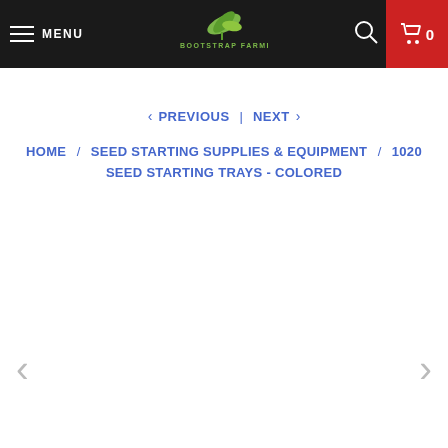MENU  BOOTSTRAP FARMER  0
< PREVIOUS  |  NEXT >
HOME / SEED STARTING SUPPLIES & EQUIPMENT / 1020 SEED STARTING TRAYS - COLORED